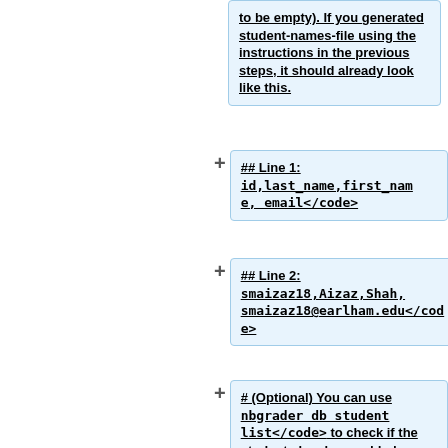to be empty). If you generated student-names-file using the instructions in the previous steps, it should already look like this.
## Line 1: <code>id,last_name,first_name, email</code>
## Line 2: <code>smaizaz18,Aizaz,Shah,smaizaz18@earlham.edu</code>
# (Optional) You can use <code>nbgrader db student list</code> to check if the students has been added successfully